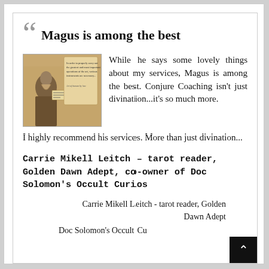Magus is among the best
[Figure (illustration): A robed wizard or sage figure with scrolls and text, vintage/antique style illustration]
While he says some lovely things about my services, Magus is among the best. Conjure Coaching isn't just divination...it's so much more. I highly recommend his services. More than just divination...
Carrie Mikell Leitch – tarot reader, Golden Dawn Adept, co-owner of Doc Solomon's Occult Curios
Carrie Mikell Leitch - tarot reader, Golden Dawn Adept
Doc Solomon's Occult Cu